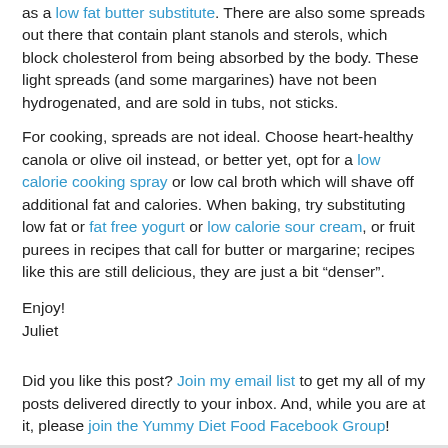as a low fat butter substitute. There are also some spreads out there that contain plant stanols and sterols, which block cholesterol from being absorbed by the body. These light spreads (and some margarines) have not been hydrogenated, and are sold in tubs, not sticks.
For cooking, spreads are not ideal. Choose heart-healthy canola or olive oil instead, or better yet, opt for a low calorie cooking spray or low cal broth which will shave off additional fat and calories. When baking, try substituting low fat or fat free yogurt or low calorie sour cream, or fruit purees in recipes that call for butter or margarine; recipes like this are still delicious, they are just a bit “denser”.
Enjoy!
Juliet
Did you like this post? Join my email list to get my all of my posts delivered directly to your inbox. And, while you are at it, please join the Yummy Diet Food Facebook Group!